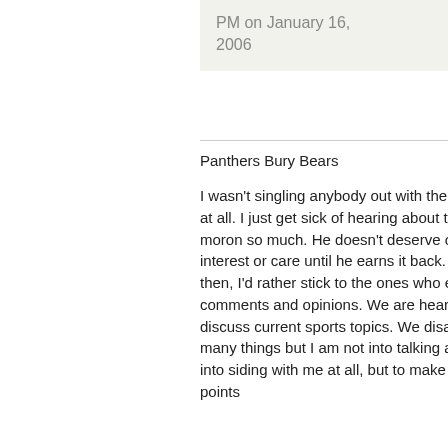PM on January 16, 2006
Panthers Bury Bears
I wasn't singling anybody out with the TO thing at all. I just get sick of hearing about the moron so much. He doesn't deserve our interest or care until he earns it back. Until then, I'd rather stick to the ones who earn our comments and opinions. We are hear to discuss current sports topics. We disagree to many things but I am not into talking anyone into siding with me at all, but to make my points